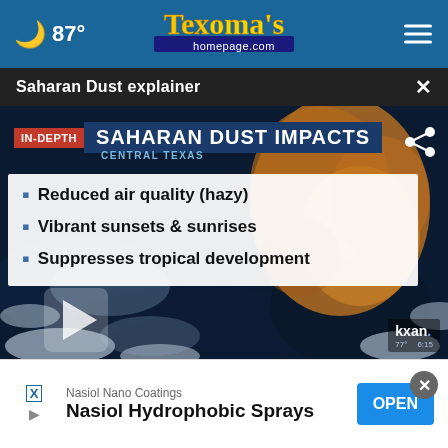🌙 87° — Texoma's homepage.com
Saharan Dust explainer ✕
[Figure (screenshot): Video thumbnail showing IN-DEPTH: SAHARAN DUST IMPACTS / CENTRAL TEXAS over a satellite image of dust clouds over the Atlantic Ocean. Bullet points list: Reduced air quality (hazy), Vibrant sunsets & sunrises, Suppresses tropical development. Play button visible. KXAN logo watermark.]
[Figure (screenshot): Secondary video panel showing satellite weather imagery with a close button]
Nasiol Nano Coatings — Nasiol Hydrophobic Sprays — OPEN